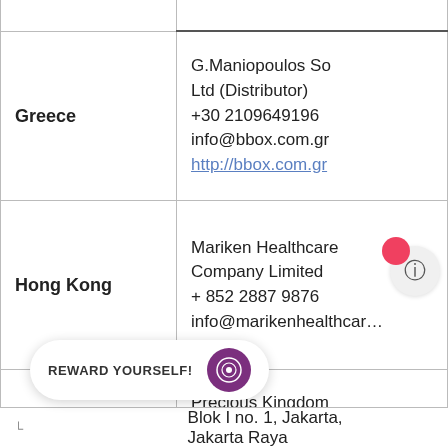| Country | Distributor/Contact |
| --- | --- |
|  |  |
| Greece | G.Maniopoulos So Ltd (Distributor)
+30 2109649196
info@bbox.com.gr
http://bbox.com.gr |
| Hong Kong | Mariken Healthcare Company Limited
+ 852 2887 9876
info@marikenhealthcare |
|  | Precious Kingdom
Jl. Kp. Gusti Komp
Taman Permata Indah
Blok I no. 1, Jakarta,
Jakarta Raya |